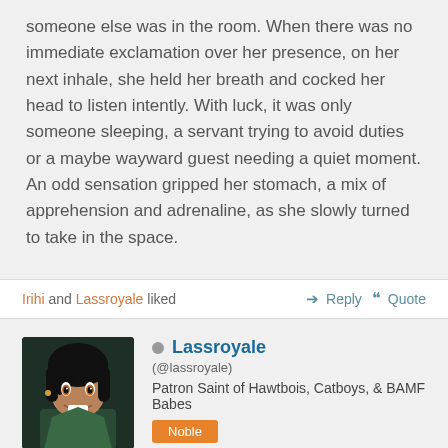someone else was in the room. When there was no immediate exclamation over her presence, on her next inhale, she held her breath and cocked her head to listen intently. With luck, it was only someone sleeping, a servant trying to avoid duties or a maybe wayward guest needing a quiet moment. An odd sensation gripped her stomach, a mix of apprehension and adrenaline, as she slowly turned to take in the space.
Irihi and Lassroyale liked
Reply  Quote
Lassroyale (@lassroyale) Patron Saint of Hawtbois, Catboys, & BAMF Babes Noble Joined: 12 months ago  Posts: 776